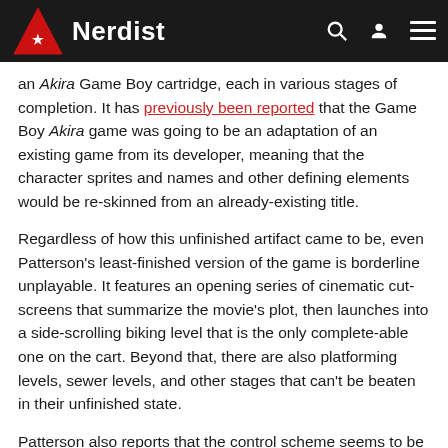Nerdist
an Akira Game Boy cartridge, each in various stages of completion. It has previously been reported that the Game Boy Akira game was going to be an adaptation of an existing game from its developer, meaning that the character sprites and names and other defining elements would be re-skinned from an already-existing title.
Regardless of how this unfinished artifact came to be, even Patterson’s least-finished version of the game is borderline unplayable. It features an opening series of cinematic cut-screens that summarize the movie’s plot, then launches into a side-scrolling biking level that is the only complete-able one on the cart. Beyond that, there are also platforming levels, sewer levels, and other stages that can’t be beaten in their unfinished state.
Patterson also reports that the control scheme seems to be unfinished—for example, the Down button makes the player kick, and the Up button punches—so it doesn’t appear that this game was ever all that close to coming to market, which means the video above is probably the best look we’ll ever